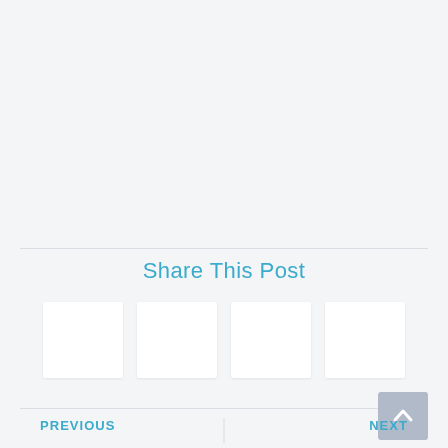Share This Post
[Figure (other): Four social media share buttons rendered as white rectangles]
PREVIOUS   NEXT